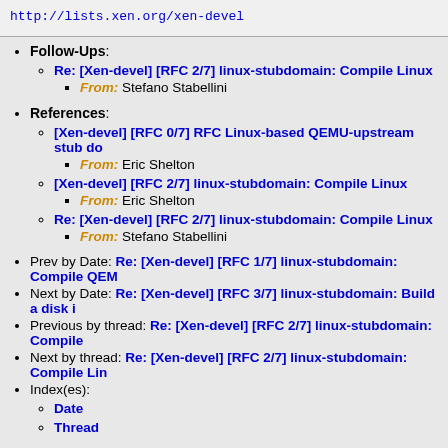http://lists.xen.org/xen-devel
Follow-Ups:
Re: [Xen-devel] [RFC 2/7] linux-stubdomain: Compile Linux
From: Stefano Stabellini
References:
[Xen-devel] [RFC 0/7] RFC Linux-based QEMU-upstream stub do
From: Eric Shelton
[Xen-devel] [RFC 2/7] linux-stubdomain: Compile Linux
From: Eric Shelton
Re: [Xen-devel] [RFC 2/7] linux-stubdomain: Compile Linux
From: Stefano Stabellini
Prev by Date: Re: [Xen-devel] [RFC 1/7] linux-stubdomain: Compile QEM
Next by Date: Re: [Xen-devel] [RFC 3/7] linux-stubdomain: Build a disk i
Previous by thread: Re: [Xen-devel] [RFC 2/7] linux-stubdomain: Compile
Next by thread: Re: [Xen-devel] [RFC 2/7] linux-stubdomain: Compile Lin
Index(es):
Date
Thread